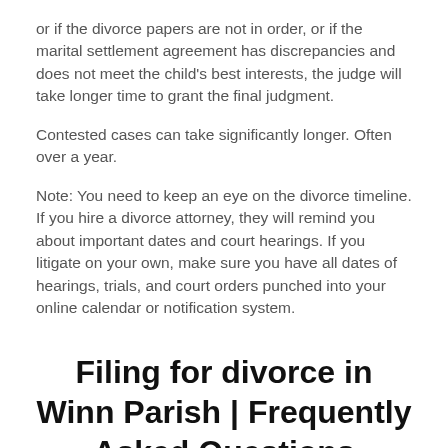or if the divorce papers are not in order, or if the marital settlement agreement has discrepancies and does not meet the child's best interests, the judge will take longer time to grant the final judgment.
Contested cases can take significantly longer. Often over a year.
Note: You need to keep an eye on the divorce timeline. If you hire a divorce attorney, they will remind you about important dates and court hearings. If you litigate on your own, make sure you have all dates of hearings, trials, and court orders punched into your online calendar or notification system.
Filing for divorce in Winn Parish | Frequently Asked Questions